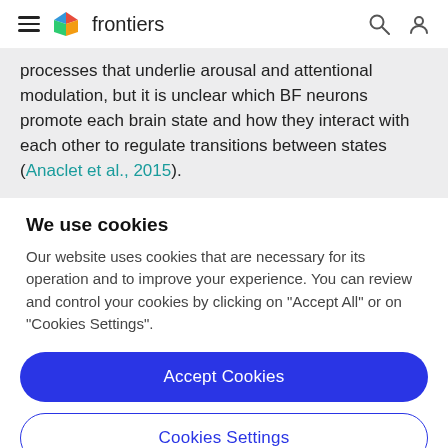frontiers
processes that underlie arousal and attentional modulation, but it is unclear which BF neurons promote each brain state and how they interact with each other to regulate transitions between states (Anaclet et al., 2015).
We use cookies
Our website uses cookies that are necessary for its operation and to improve your experience. You can review and control your cookies by clicking on "Accept All" or on "Cookies Settings".
Accept Cookies
Cookies Settings